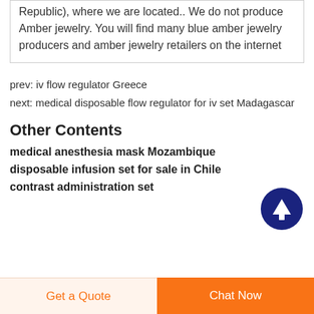Republic), where we are located.. We do not produce Amber jewelry. You will find many blue amber jewelry producers and amber jewelry retailers on the internet
prev: iv flow regulator Greece
next: medical disposable flow regulator for iv set Madagascar
[Figure (illustration): Dark blue circular button with white upward arrow icon (scroll to top button)]
Other Contents
medical anesthesia mask Mozambique
disposable infusion set for sale in Chile
contrast administration set